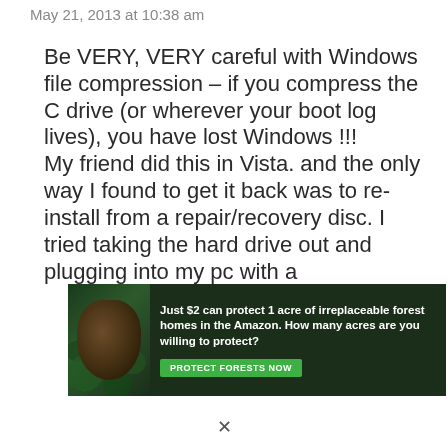May 21, 2013 at 10:38 am
Be VERY, VERY careful with Windows file compression – if you compress the C drive (or wherever your boot log lives), you have lost Windows !!!
My friend did this in Vista. and the only way I found to get it back was to re-install from a repair/recovery disc. I tried taking the hard drive out and plugging into my pc with a -disc add-h... but still no joy...
[Figure (photo): Advertisement banner with forest/Amazon theme: orangutan in jungle leaves background, text reading 'Just $2 can protect 1 acre of irreplaceable forest homes in the Amazon. How many acres are you willing to protect?' with green 'PROTECT FORESTS NOW' button.]